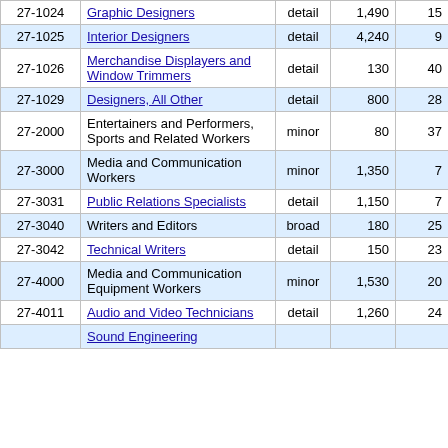| Code | Title | Level | Col4 | Col5 |
| --- | --- | --- | --- | --- |
| 27-1024 | Graphic Designers | detail | 1,490 | 15 |
| 27-1025 | Interior Designers | detail | 4,240 | 9 |
| 27-1026 | Merchandise Displayers and Window Trimmers | detail | 130 | 40 |
| 27-1029 | Designers, All Other | detail | 800 | 28 |
| 27-2000 | Entertainers and Performers, Sports and Related Workers | minor | 80 | 37 |
| 27-3000 | Media and Communication Workers | minor | 1,350 | 7 |
| 27-3031 | Public Relations Specialists | detail | 1,150 | 7 |
| 27-3040 | Writers and Editors | broad | 180 | 25 |
| 27-3042 | Technical Writers | detail | 150 | 23 |
| 27-4000 | Media and Communication Equipment Workers | minor | 1,530 | 20 |
| 27-4011 | Audio and Video Technicians | detail | 1,260 | 24 |
| 27-4013 | Sound Engineering... | detail |  |  |